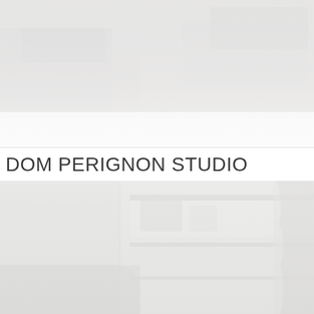[Figure (photo): Top portion: faded interior photo showing furniture, a sofa or chairs in grey/beige tones, cropped at edges. Very light/washed out appearance.]
DOM PERIGNON STUDIO
[Figure (photo): Bottom portion: faded interior photo showing shelving, wall-mounted shelves with items, a rounded-corner furniture piece at lower left, and what appears to be a draped fabric or garment at the right edge. Very light/washed out appearance.]